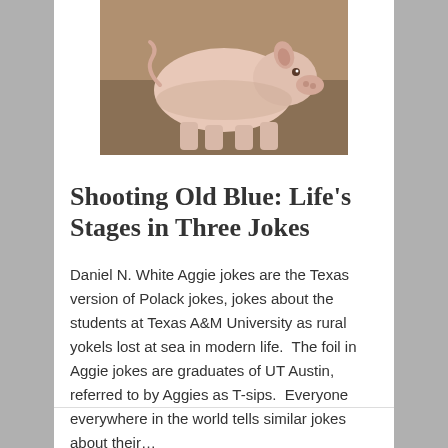[Figure (photo): A pink pig standing in profile view against a brown/tan background]
Shooting Old Blue: Life’s Stages in Three Jokes
Daniel N. White Aggie jokes are the Texas version of Polack jokes, jokes about the students at Texas A&M University as rural yokels lost at sea in modern life.  The foil in Aggie jokes are graduates of UT Austin, referred to by Aggies as T-sips.  Everyone everywhere in the world tells similar jokes about their…
May 6, 2015 in Higher Education, Life and meaning, Society.